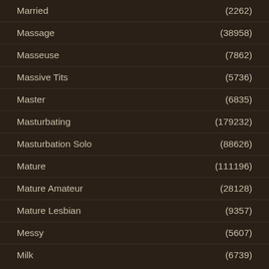Married (2262)
Massage (38958)
Masseuse (7862)
Massive Tits (5736)
Master (6835)
Masturbating (179232)
Masturbation Solo (88626)
Mature (111196)
Mature Amateur (28128)
Mature Lesbian (9357)
Messy (5607)
Milk (6739)